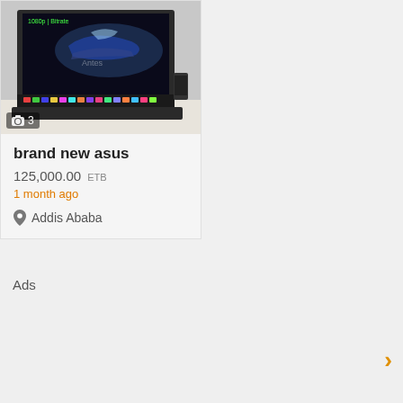[Figure (photo): Photo of an ASUS laptop open, showing a colorful keyboard and screen with a car wallpaper. An overlay shows '1080p | Bitrate' text. Watermark 'Antes' visible.]
3
brand new asus
125,000.00 ETB
1 month ago
Addis Ababa
Ads